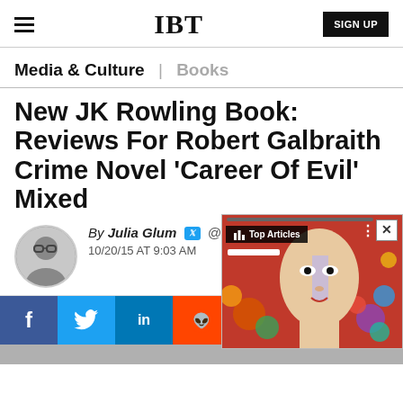IBT | SIGN UP
Media & Culture | Books
New JK Rowling Book: Reviews For Robert Galbraith Crime Novel 'Career Of Evil' Mixed
By Julia Glum @sup... 10/20/15 AT 9:03 AM
[Figure (photo): Popup overlay showing a portrait painting of a person with red background and colorful spheres, with 'Top Articles' label and close button]
[Figure (illustration): Social sharing buttons row: Facebook, Twitter, LinkedIn, Reddit, Flipboard, Email, Comment]